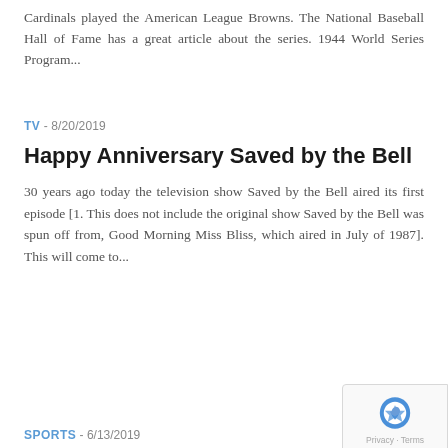Cardinals played the American League Browns. The National Baseball Hall of Fame has a great article about the series. 1944 World Series Program...
TV - 8/20/2019
Happy Anniversary Saved by the Bell
30 years ago today the television show Saved by the Bell aired its first episode [1. This does not include the original show Saved by the Bell was spun off from, Good Morning Miss Bliss, which aired in July of 1987]. This will come to...
SPORTS - 6/13/2019